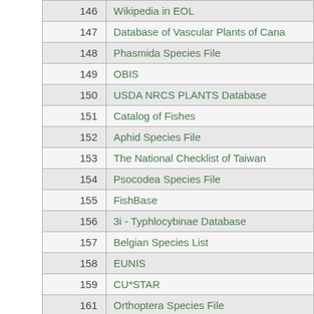| ID | Name |
| --- | --- |
| 146 | Wikipedia in EOL |
| 147 | Database of Vascular Plants of Cana |
| 148 | Phasmida Species File |
| 149 | OBIS |
| 150 | USDA NRCS PLANTS Database |
| 151 | Catalog of Fishes |
| 152 | Aphid Species File |
| 153 | The National Checklist of Taiwan |
| 154 | Psocodea Species File |
| 155 | FishBase |
| 156 | 3i - Typhlocybinae Database |
| 157 | Belgian Species List |
| 158 | EUNIS |
| 159 | CU*STAR |
| 161 | Orthoptera Species File |
| 162 | Bishop Museum |
| 163 | IUCN Red List of Threatened Specie |
| 164 | BioLib.cz |